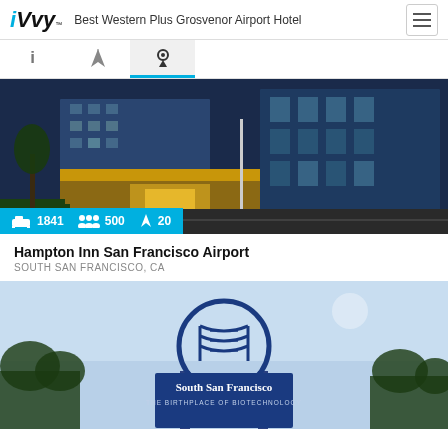iVvy — Best Western Plus Grosvenor Airport Hotel
[Figure (screenshot): Tab bar with info, filter, and location icons; location tab is active with blue underline]
[Figure (photo): Hotel exterior photo of a modern airport hotel building with illuminated entrance at dusk, palm trees visible]
1841  500  20
Hampton Inn San Francisco Airport
SOUTH SAN FRANCISCO, CA
[Figure (photo): South San Francisco city sign reading 'South San Francisco THE BIRTHPLACE OF BIOTECHNOLOGY' with a DNA double helix logo, blue sky background with trees]